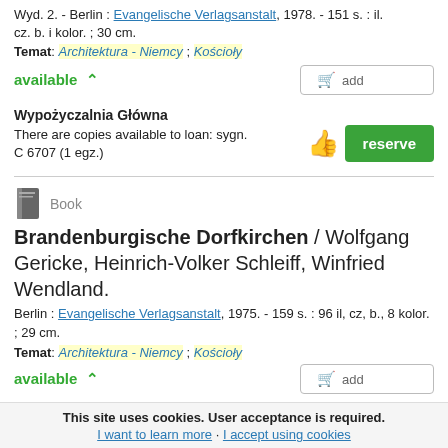Wyd. 2. - Berlin : Evangelische Verlagsanstalt, 1978. - 151 s. : il. cz. b. i kolor. ; 30 cm.
Temat: Architektura - Niemcy ; Kościoły
available
add
Wypożyczalnia Główna
There are copies available to loan: sygn. C 6707 (1 egz.)
reserve
Book
Brandenburgische Dorfkirchen / Wolfgang Gericke, Heinrich-Volker Schleiff, Winfried Wendland.
Berlin : Evangelische Verlagsanstalt, 1975. - 159 s. : 96 il, cz, b., 8 kolor. ; 29 cm.
Temat: Architektura - Niemcy ; Kościoły
available
add
This site uses cookies. User acceptance is required.
I want to learn more · I accept using cookies